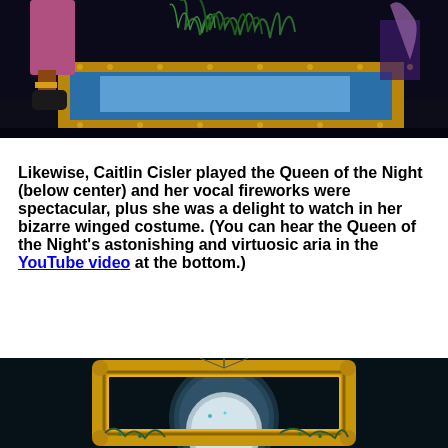[Figure (photo): Stage scene showing feet and boots of a performer near a blue and gold prop trunk with brass studs, with green feathered plants visible above]
Likewise, Caitlin Cisler played the Queen of the Night (below center) and her vocal fireworks were spectacular, plus she was a delight to watch in her bizarre winged costume. (You can hear the Queen of the Night's astonishing and virtuosic aria in the YouTube video at the bottom.)
[Figure (photo): Dark stage scene showing a large ornate gold picture frame on a dark teal background with a full moon visible through/behind the frame, decorated with greenery]